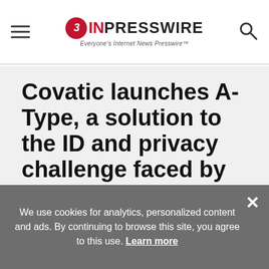EINPresswire — Everyone's Internet News Presswire
Covatic launches A-Type, a solution to the ID and privacy challenge faced by the Digital Advertising industry
We use cookies for analytics, personalized content and ads. By continuing to browse this site, you agree to this use. Learn more